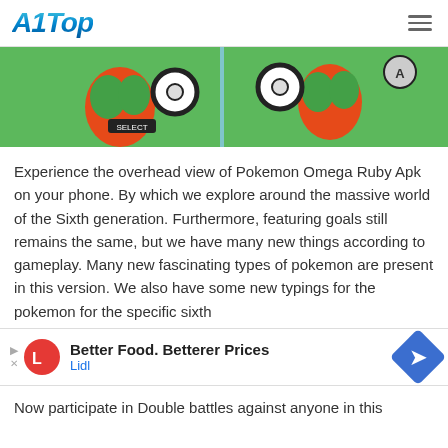A1Top
[Figure (screenshot): Pokemon Omega Ruby gameplay screenshot showing battle screen with pokemon characters on green background, game controller buttons visible]
Experience the overhead view of Pokemon Omega Ruby Apk on your phone. By which we explore around the massive world of the Sixth generation. Furthermore, featuring goals still remains the same, but we have many new things according to gameplay. Many new fascinating types of pokemon are present in this version. We also have some new typings for the pokemon for the specific sixth
[Figure (infographic): Advertisement banner: Better Food. Betterer Prices - Lidl]
Now participate in Double battles against anyone in this